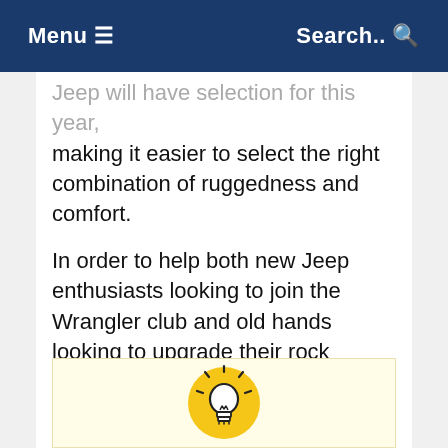Menu ≡   Search.. 🔍
Jeep will have selection for this year, making it easier to select the right combination of ruggedness and comfort.
In order to help both new Jeep enthusiasts looking to join the Wrangler club and old hands looking to upgrade their rock climbing machine, we have put together a quick summaries of the different trim levels available on the 2018 Wrangler, along with some advice on how you can maximize the amount of features and fun you can get out of the new Jeep.
[Figure (illustration): Yellow lightbulb icon on a cream/pale yellow background panel at the bottom of the page]